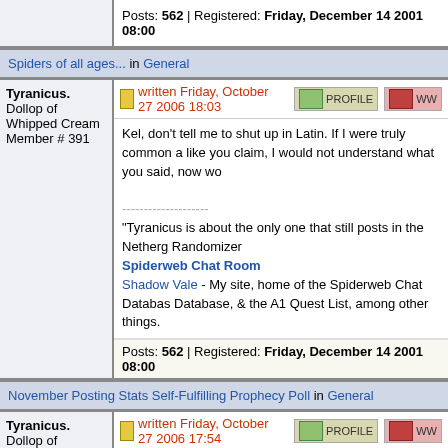Posts: 562 | Registered: Friday, December 14 2001 08:00
Spiders of all ages... in General
Tyranicus. written Friday, October 27 2006 18:03
Tyranicus. Dollop of Whipped Cream Member # 391
Kel, don't tell me to shut up in Latin. If I were truly common a like you claim, I would not understand what you said, now wo
--------------------
"Tyranicus is about the only one that still posts in the Netherg Randomizer
Spiderweb Chat Room
Shadow Vale - My site, home of the Spiderweb Chat Databas Database, & the A1 Quest List, among other things.
Posts: 562 | Registered: Friday, December 14 2001 08:00
November Posting Stats Self-Fulfilling Prophecy Poll in General
Tyranicus. written Friday, October 27 2006 17:54
Tyranicus. Dollop of Whipped Cream Member # 391
It's very similar, but there are several nice improvements. Se used to rely on extensions for are now built in. Also, it has au spellcheck. I think we should make everyone on the boards u

[ Friday, October 27, 2006 17:55: Message edited by: Tyranicus. ]

--------------------
"Tyranicus is about the only one that still posts in the Nether